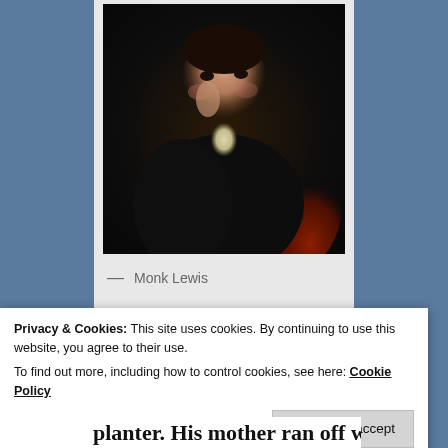[Figure (photo): Portrait painting of Monk Lewis, a man in early 19th century dress — dark coat with white cravat — seated and resting his cheek on his hand against a dark background with a red chair visible.]
— Monk Lewis
Privacy & Cookies: This site uses cookies. By continuing to use this website, you agree to their use.
To find out more, including how to control cookies, see here: Cookie Policy
Close and accept
planter. His mother ran off with the